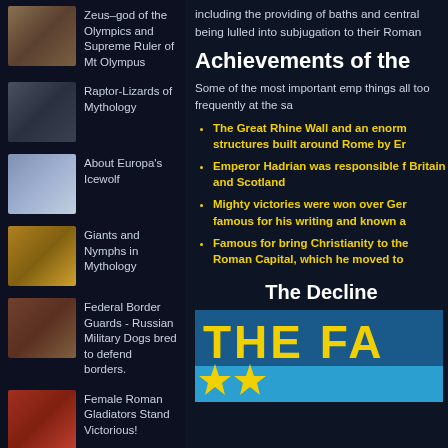Zeus–god of the Olympics and Supreme Ruler of Mt Olympus
Raptor-Lizards of Mythology
About Europa's Icewolf
Giants and Nymphs in Mythology
Federal Border Guards - Russian Military Dogs bred to defend borders.
Female Roman Gladiators Stand Victorious!
The Russian German Shepherd Dog
Full Wolf Moon–January 5th 2015
including the providing of baths and central being lulled into subjugation to their Roman
Achievements of the
Some of the most important emp things all too frequently at the sa
The Great Rhine Wall and an enorm structures built around Rome by Er
Emperor Hadrian was responsible f Britain and Scotland
Mighty victories were won over Ger famous for his writing and known a
Famous for bring Christianity to the Roman Capital, which he moved to
The Decline
THE FA